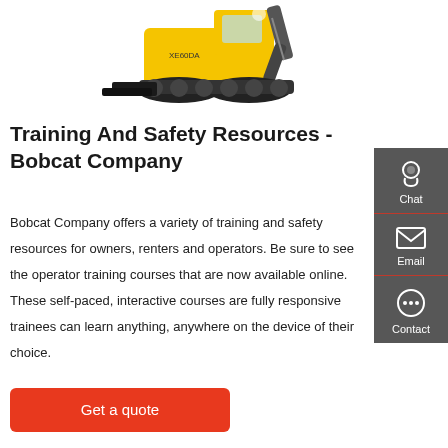[Figure (photo): Yellow mini excavator (XE60DA) with black tracks and blade attachment, partially visible from the front/side angle on a white background]
Training And Safety Resources - Bobcat Company
Bobcat Company offers a variety of training and safety resources for owners, renters and operators. Be sure to see the operator training courses that are now available online. These self-paced, interactive courses are fully responsive trainees can learn anything, anywhere on the device of their choice.
Get a quote